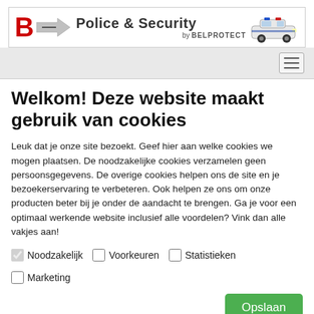[Figure (logo): Police & Security by Belprotect banner with red B logo, arrow graphic, bold text header, and police car image]
Welkom! Deze website maakt gebruik van cookies
Leuk dat je onze site bezoekt. Geef hier aan welke cookies we mogen plaatsen. De noodzakelijke cookies verzamelen geen persoonsgegevens. De overige cookies helpen ons de site en je bezoekerservaring te verbeteren. Ook helpen ze ons om onze producten beter bij je onder de aandacht te brengen. Ga je voor een optimaal werkende website inclusief alle voordelen? Vink dan alle vakjes aan!
Noodzakelijk
Voorkeuren
Statistieken
Marketing
Opslaan